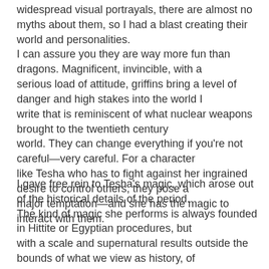widespread visual portrayals, there are almost no myths about them, so I had a blast creating their world and personalities. I can assure you they are way more fun than dragons. Magnificent, invincible, with a serious load of attitude, griffins bring a level of danger and high stakes into the world I write that is reminiscent of what nuclear weapons brought to the twentieth century world. They can change everything if you're not careful—very careful. For a character like Tesha who has to fight against her ingrained desire to control others, they pose a major temptation—and she has the magic to interact with them.
I gave free rein to Tesha's magic, which arose out of the historical details of the period. The kind of magic she performs is always founded in Hittite or Egyptian procedures, but with a scale and supernatural results outside the bounds of what we view as history, of